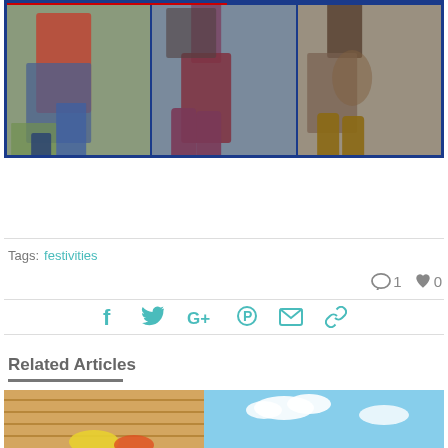[Figure (photo): Three-panel photo collage of children's legs and boots at an outdoor event, framed with blue and red border]
Tags: festivities
1  0
Social share icons: Facebook, Twitter, Google+, Pinterest, Email, Link
Related Articles
[Figure (illustration): Colorful illustrated image, partially visible, showing wooden planks and sky with clouds]